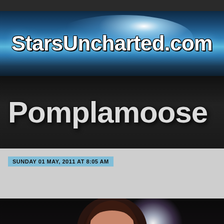[Figure (screenshot): Website header banner for StarsUncharted.com with blue gradient background and glowing arc highlight]
StarsUncharted.com
Pomplamoose
SUNDAY 01 MAY, 2011 AT 8:05 AM
[Figure (photo): Photo of a person with brown hair against a dark background with purple and white light effects]